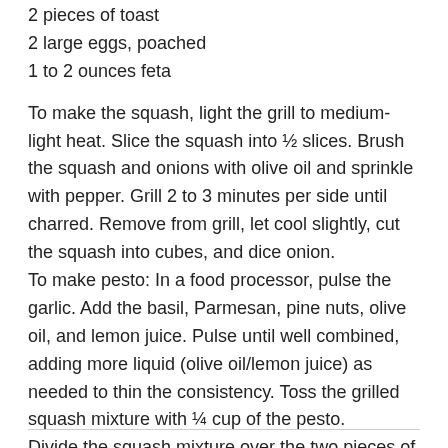2 pieces of toast
2 large eggs, poached
1 to 2 ounces feta
To make the squash, light the grill to medium-light heat. Slice the squash into ½ slices. Brush the squash and onions with olive oil and sprinkle with pepper. Grill 2 to 3 minutes per side until charred. Remove from grill, let cool slightly, cut the squash into cubes, and dice onion. To make pesto: In a food processor, pulse the garlic. Add the basil, Parmesan, pine nuts, olive oil, and lemon juice. Pulse until well combined, adding more liquid (olive oil/lemon juice) as needed to thin the consistency. Toss the grilled squash mixture with ¼ cup of the pesto. Divide the squash mixture over the two pieces of toast. Finish with the poached egg, feta, and a sprinkle of basil.